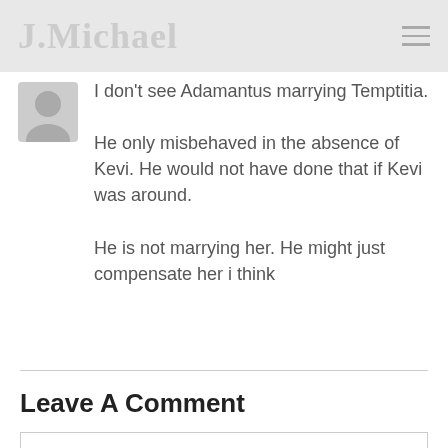J.Michael
I don't see Adamantus marrying Temptitia.
He only misbehaved in the absence of Kevi. He would not have done that if Kevi was around.
He is not marrying her. He might just compensate her i think
Leave A Comment